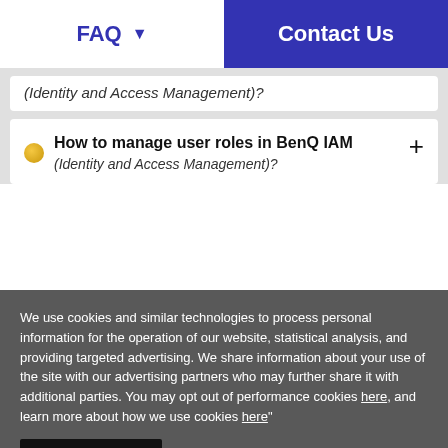FAQ  Contact Us
(Identity and Access Management)?
How to manage user roles in BenQ IAM (Identity and Access Management)?
We use cookies and similar technologies to process personal information for the operation of our website, statistical analysis, and providing targeted advertising. We share information about your use of the site with our advertising partners who may further share it with additional parties. You may opt out of performance cookies here, and learn more about how we use cookies here"
I understand
Cookie Setting   Find More